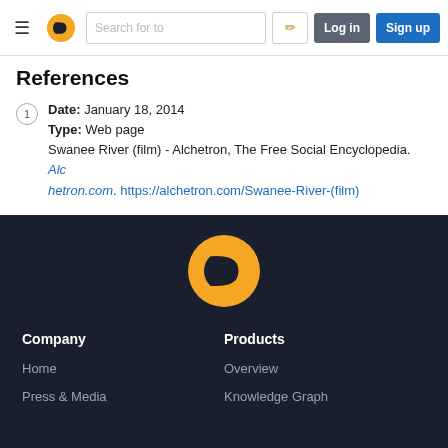Navigation bar with hamburger menu, Alchetron logo, search field, edit button, Log in and Sign up buttons
References
1. Date: January 18, 2014 Type: Web page Swanee River (film) - Alchetron, The Free Social Encyclopedia. Alchetron.com. https://alchetron.com/Swanee-River-(film)
[Figure (logo): Alchetron logo — golden ring/swirl on dark background]
Company | Products
Home
Press & Media
Overview
Knowledge Graph